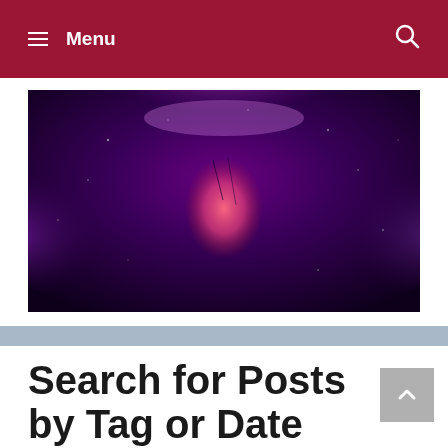Menu
[Figure (photo): Abstract purple and pink photographic image with a blurred human figure surrounded by dark purple tones and particle-like textures]
Search for Posts by Tag or Date